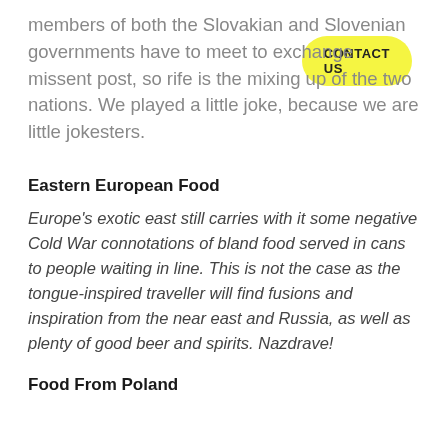CONTACT US
members of both the Slovakian and Slovenian governments have to meet to exchange missent post, so rife is the mixing up of the two nations. We played a little joke, because we are little jokesters.
Eastern European Food
Europe's exotic east still carries with it some negative Cold War connotations of bland food served in cans to people waiting in line. This is not the case as the tongue-inspired traveller will find fusions and inspiration from the near east and Russia, as well as plenty of good beer and spirits. Nazdrave!
Food From Poland